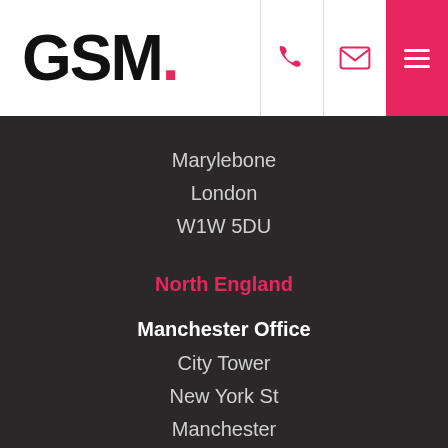GSM.
Marylebone
London
W1W 5DU
North England
Manchester Office
City Tower
New York St
Manchester
M1 4BT